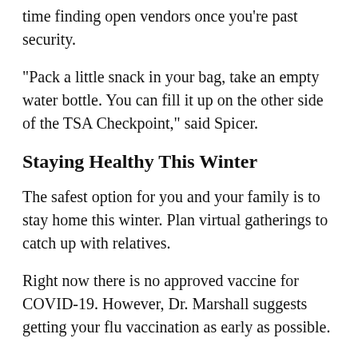time finding open vendors once you're past security.
"Pack a little snack in your bag, take an empty water bottle. You can fill it up on the other side of the TSA Checkpoint," said Spicer.
Staying Healthy This Winter
The safest option for you and your family is to stay home this winter. Plan virtual gatherings to catch up with relatives.
Right now there is no approved vaccine for COVID-19. However, Dr. Marshall suggests getting your flu vaccination as early as possible.
RELATED: Solano County Sees Its 1st Person with COVID-19, Flu Co-Infection